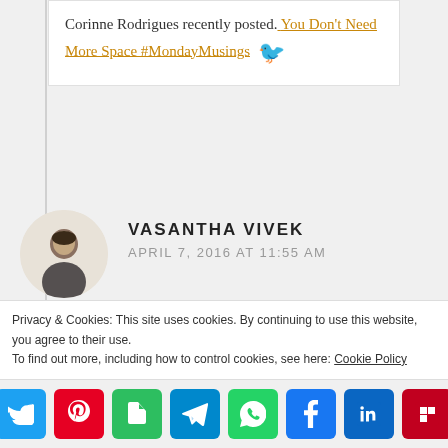Corinne Rodrigues recently posted. You Don't Need More Space #MondayMusings 🐦
VASANTHA VIVEK
APRIL 7, 2016 AT 11:55 AM
Hope it would be great book to add to our collection. I am very eager to read it. I also love to make notes with
Privacy & Cookies: This site uses cookies. By continuing to use this website, you agree to their use.
To find out more, including how to control cookies, see here: Cookie Policy
[Figure (infographic): Social media share buttons bar: Twitter (blue), Pinterest (red), Evernote (green), Telegram (blue), WhatsApp (green), Facebook (blue), LinkedIn (dark blue), Flipboard (dark red)]